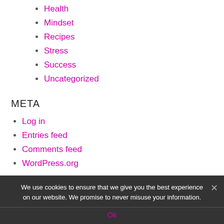Health
Mindset
Recipes
Stress
Success
Uncategorized
META
Log in
Entries feed
Comments feed
WordPress.org
We use cookies to ensure that we give you the best experience on our website. We promise to never misuse your information.
Ok